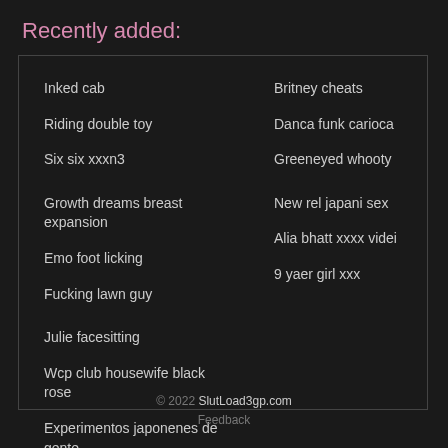Recently added:
Inked cab
Britney cheats
Riding double toy
Danca funk carioca
Six six xxxn3
Greeneyed whooty
Growth dreams breast expansion
New rel japani sex
Emo foot licking
Alia bhatt xxxx videi
Fucking lawn guy
9 yaer girl xxx
Julie facesitting
Wcp club housewife black rose
Experimentos japonenes de gente
© 2022 SlutLoad3gp.com Feedback